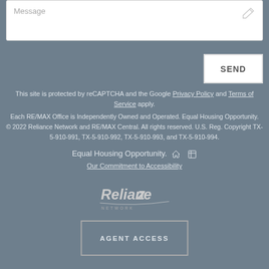[Figure (screenshot): Message input text field with pencil icon]
SEND
This site is protected by reCAPTCHA and the Google Privacy Policy and Terms of Service apply.
Each RE/MAX Office is Independently Owned and Operated. Equal Housing Opportunity. © 2022 Reliance Network and RE/MAX Central. All rights reserved. U.S. Reg. Copyright TX-5-910-991, TX-5-910-992, TX-5-910-993, and TX-5-910-994.
Equal Housing Opportunity.
Our Commitment to Accessibility
[Figure (logo): Reliance Network logo in white]
AGENT ACCESS